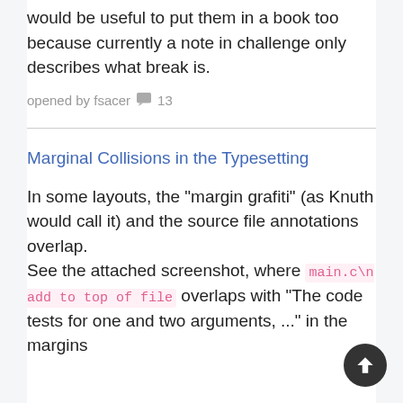would be useful to put them in a book too because currently a note in challenge only describes what break is.
opened by fsacer 💬 13
Marginal Collisions in the Typesetting
In some layouts, the "margin grafiti" (as Knuth would call it) and the source file annotations overlap.
See the attached screenshot, where main.c\n add to top of file overlaps with "The code tests for one and two arguments, ..." in the margins